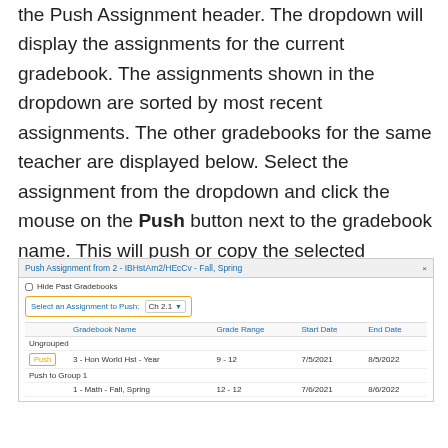the Push Assignment header. The dropdown will display the assignments for the current gradebook. The assignments shown in the dropdown are sorted by most recent assignments. The other gradebooks for the same teacher are displayed below. Select the assignment from the dropdown and click the mouse on the Push button next to the gradebook name. This will push or copy the selected assignment from the current gradebook to the selected gradebook.
[Figure (screenshot): Screenshot of Push Assignment dialog. Title: 'Push Assignment from 2 - IBHstAm2/HEcCv - Fall, Spring'. Contains Hide Past Gradebooks checkbox, Select an Assignment to Push dropdown showing 'Ch 2.1', and a table with columns Gradebook Name, Grade Range, Start Date, End Date. Rows: Ungrouped group header; Push button row: '3 - Hon World Hst - Year', 9-12, 7/5/2021, 8/5/2022; Push to Group 1 group link; '1 - Math - Fall, Spring', 12-12, 7/6/2021, 8/6/2022.]